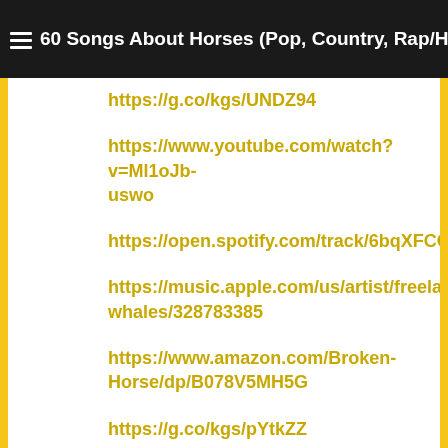60 Songs About Horses (Pop, Country, Rap/Hip Hop & More)
https://g.co/kgs/UNDZ94
https://www.youtube.com/watch?v=Ml1oJb-uswo
https://open.spotify.com/track/6bqXFCC46lD8yhg
https://music.apple.com/us/artist/freelance-whales/328783385
https://www.amazon.com/Broken-Horse/dp/B078V5MH5G
https://g.co/kgs/pYtkZZ
https://open.spotify.com/track/7KOEZDlRW32Xe